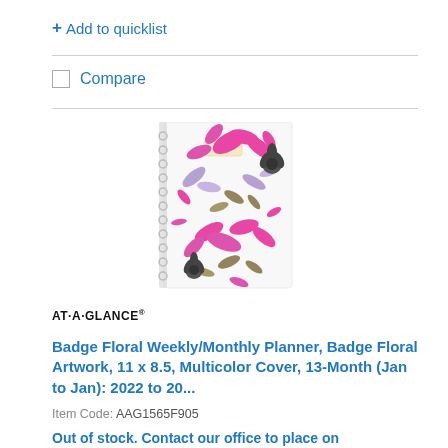+ Add to quicklist
Compare
[Figure (photo): A spiral-bound weekly/monthly planner with a white cover featuring colorful floral artwork in pink, purple, gray, and olive/brown tones. The planner has a label area near the top center.]
AT·A·GLANCE®
Badge Floral Weekly/Monthly Planner, Badge Floral Artwork, 11 x 8.5, Multicolor Cover, 13-Month (Jan to Jan): 2022 to 20...
Item Code: AAG1565F905
Out of stock. Contact our office to place on...